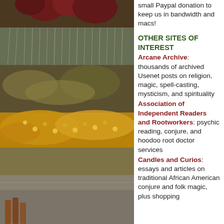[Figure (photo): Photograph of herbs, spices, roots, dried flowers including star anise, dried leaves, yellow flowers (marigold/calendula), and various botanical ingredients arranged together, with dark reddish fruits visible at top.]
small Paypal donation to keep us in bandwidth and macs!
OTHER SITES OF INTEREST
Arcane Archive: thousands of archived Usenet posts on religion, magic, spell-casting, mysticism, and spirituality
Association of Independent Readers and Rootworkers: psychic reading, conjure, and hoodoo root doctor services
Candles and Curios: essays and articles on traditional African American conjure and folk magic, plus shopping